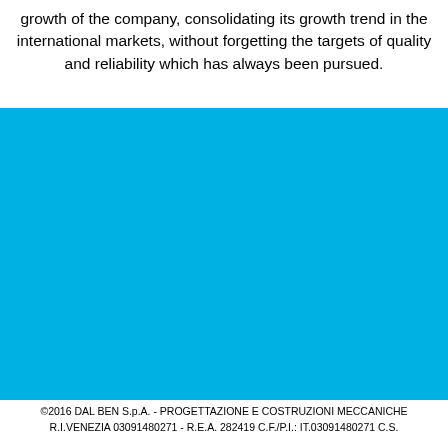growth of the company, consolidating its growth trend in the international markets, without forgetting the targets of quality and reliability which has always been pursued.
[Figure (other): Large solid cyan/sky-blue rectangle filling the middle portion of the page]
©2016 DAL BEN S.p.A. - PROGETTAZIONE E COSTRUZIONI MECCANICHE R.I.VENEZIA 03091480271 - R.E.A. 282419 C.F./P.I.: IT.03091480271 C.S.